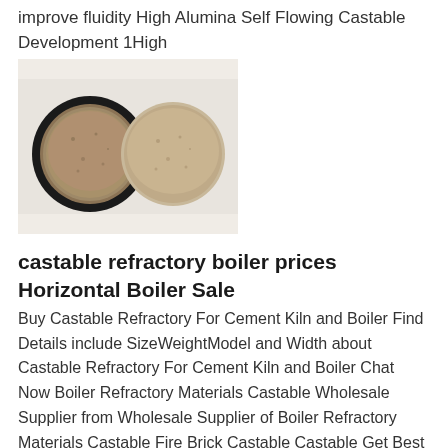improve fluidity High Alumina Self Flowing Castable Development 1High
[Figure (photo): Two circular mold samples of castable refractory material, one with black rim and one without, showing granular sandy texture on white background]
castable refractory boiler prices Horizontal Boiler Sale
Buy Castable Refractory For Cement Kiln and Boiler Find Details include SizeWeightModel and Width about Castable Refractory For Cement Kiln and Boiler Chat Now Boiler Refractory Materials Castable Wholesale Supplier from Wholesale Supplier of Boiler Refractory Materials Castable Fire Brick Castable Castable Get Best Quote
[Figure (photo): Partial image of a dark/black background photo, appears to show industrial equipment, cut off at bottom of page]